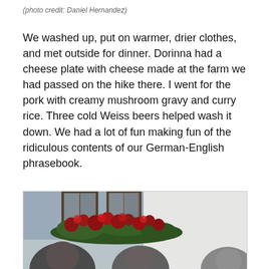(photo credit: Daniel Hernandez)
We washed up, put on warmer, drier clothes, and met outside for dinner. Dorinna had a cheese plate with cheese made at the farm we had passed on the hike there. I went for the pork with creamy mushroom gravy and curry rice. Three cold Weiss beers helped wash it down. We had a lot of fun making fun of the ridiculous contents of our German-English phrasebook.
[Figure (photo): Outdoor group photo in front of a building with flower boxes on windows; people visible at bottom of frame]